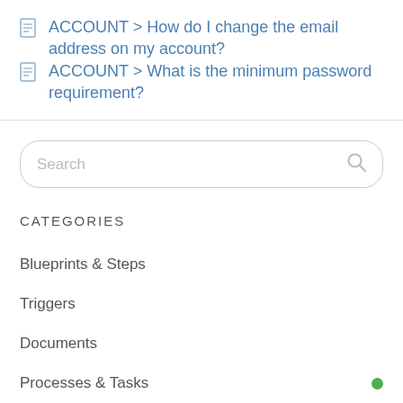ACCOUNT > How do I change the email address on my account?
ACCOUNT > What is the minimum password requirement?
[Figure (other): Search input box with placeholder text 'Search' and a search magnifier icon on the right]
CATEGORIES
Blueprints & Steps
Triggers
Documents
Processes & Tasks
Roles & Permissions